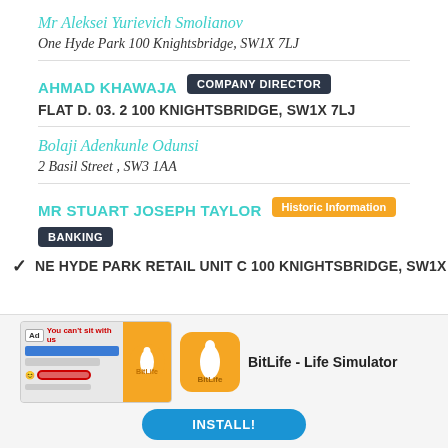Mr Aleksei Yurievich Smolianov
One Hyde Park 100 Knightsbridge, SW1X 7LJ
AHMAD KHAWAJA  COMPANY DIRECTOR
FLAT D. 03. 2 100 KNIGHTSBRIDGE, SW1X 7LJ
Bolaji Adenkunle Odunsi
2 Basil Street , SW3 1AA
MR STUART JOSEPH TAYLOR  Historic Information  BANKING
NE HYDE PARK RETAIL UNIT C 100 KNIGHTSBRIDGE, SW1X
[Figure (screenshot): Advertisement banner for BitLife - Life Simulator app with INSTALL! button]